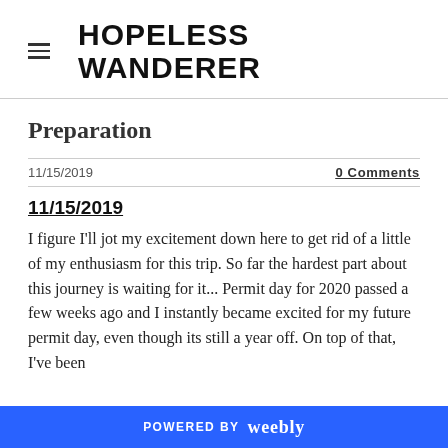HOPELESS WANDERER
Preparation
11/15/2019
0 Comments
11/15/2019
I figure I'll jot my excitement down here to get rid of a little of my enthusiasm for this trip. So far the hardest part about this journey is waiting for it... Permit day for 2020 passed a few weeks ago and I instantly became excited for my future permit day, even though its still a year off. On top of that, I've been
POWERED BY weebly